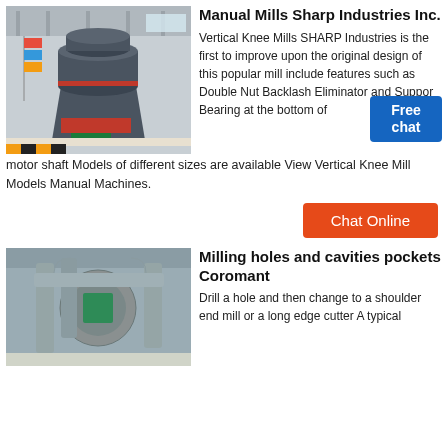[Figure (photo): Large industrial vertical mill machine inside a factory hall with flags in the background]
Manual Mills Sharp Industries Inc.
Vertical Knee Mills SHARP Industries is the first to improve upon the original design of this popular mill include features such as Double Nut Backlash Eliminator and Support Bearing at the bottom of motor shaft Models of different sizes are available View Vertical Knee Mill Models Manual Machines.
Chat Online
[Figure (photo): Industrial milling or grinding equipment with large pipes and ductwork inside a factory]
Milling holes and cavities pockets Coromant
Drill a hole and then change to a shoulder end mill or a long edge cutter A typical